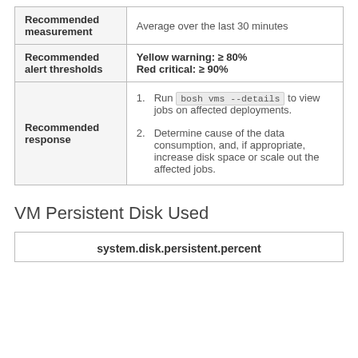|  |  |
| --- | --- |
| Recommended measurement | Average over the last 30 minutes |
| Recommended alert thresholds | Yellow warning: ≥ 80%
Red critical: ≥ 90% |
| Recommended response | 1. Run bosh vms --details to view jobs on affected deployments.
2. Determine cause of the data consumption, and, if appropriate, increase disk space or scale out the affected jobs. |
VM Persistent Disk Used
| system.disk.persistent.percent |
| --- |